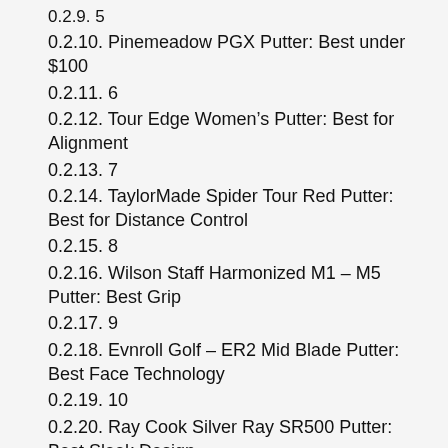0.2.9. 5
0.2.10. Pinemeadow PGX Putter: Best under $100
0.2.11. 6
0.2.12. Tour Edge Women’s Putter: Best for Alignment
0.2.13. 7
0.2.14. TaylorMade Spider Tour Red Putter: Best for Distance Control
0.2.15. 8
0.2.16. Wilson Staff Harmonized M1 – M5 Putter: Best Grip
0.2.17. 9
0.2.18. Evnroll Golf – ER2 Mid Blade Putter: Best Face Technology
0.2.19. 10
0.2.20. Ray Cook Silver Ray SR500 Putter: Best Sleek Design
0.3. Buying Guide Questions